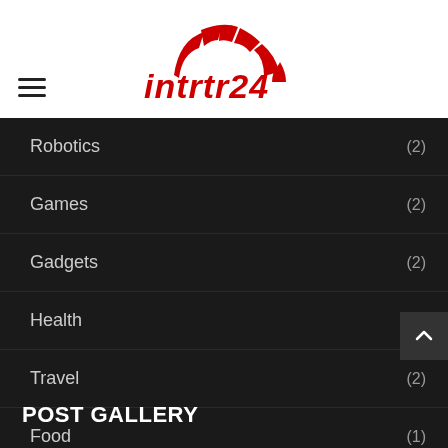[Figure (logo): Intrtr24 logo with red geometric arc shape above stylized text 'intrtr24' in red]
Robotics (2)
Games (2)
Gadgets (2)
Health (3)
Travel (2)
Food (1)
POST GALLERY